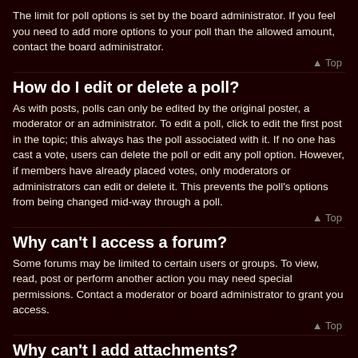The limit for poll options is set by the board administrator. If you feel you need to add more options to your poll than the allowed amount, contact the board administrator.
⬆ Top
How do I edit or delete a poll?
As with posts, polls can only be edited by the original poster, a moderator or an administrator. To edit a poll, click to edit the first post in the topic; this always has the poll associated with it. If no one has cast a vote, users can delete the poll or edit any poll option. However, if members have already placed votes, only moderators or administrators can edit or delete it. This prevents the poll's options from being changed mid-way through a poll.
⬆ Top
Why can't I access a forum?
Some forums may be limited to certain users or groups. To view, read, post or perform another action you may need special permissions. Contact a moderator or board administrator to grant you access.
⬆ Top
Why can't I add attachments?
Attachment permissions are granted on a per forum, per group, or per user basis. The board administrator may not have allowed attachments to be added for the specific forum you are posting in, or perhaps only certain